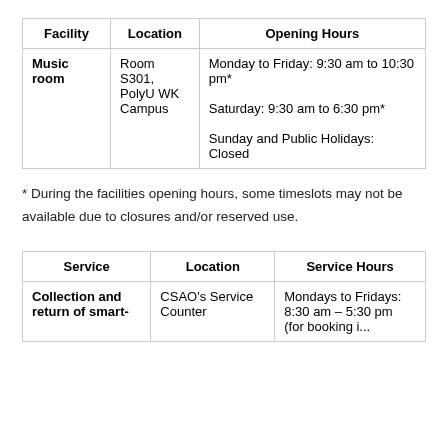| Facility | Location | Opening Hours |
| --- | --- | --- |
| Music room | Room S301, PolyU WK Campus | Monday to Friday: 9:30 am to 10:30 pm*

Saturday: 9:30 am to 6:30 pm*

Sunday and Public Holidays: Closed |
* During the facilities opening hours, some timeslots may not be available due to closures and/or reserved use.
| Service | Location | Service Hours |
| --- | --- | --- |
| Collection and return of smart- | CSAO's Service Counter | Mondays to Fridays: 8:30 am – 5:30 pm (for booking i... |